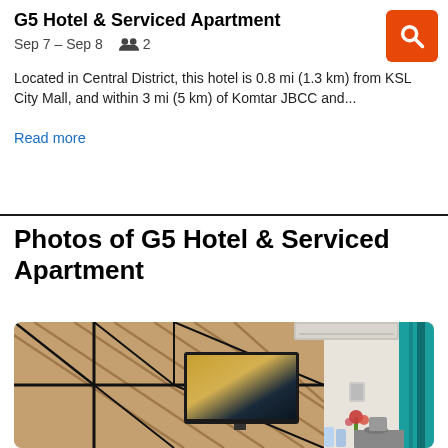G5 Hotel & Serviced Apartment
Sep 7 – Sep 8   👥 2
Located in Central District, this hotel is 0.8 mi (1.3 km) from KSL City Mall, and within 3 mi (5 km) of Komtar JBCC and...
Read more
Photos of G5 Hotel & Serviced Apartment
[Figure (photo): Hotel room photo showing a wooden feature wall with mounted flat-screen TV, white walls, teal curtains, flowers, and a kettle on a counter.]